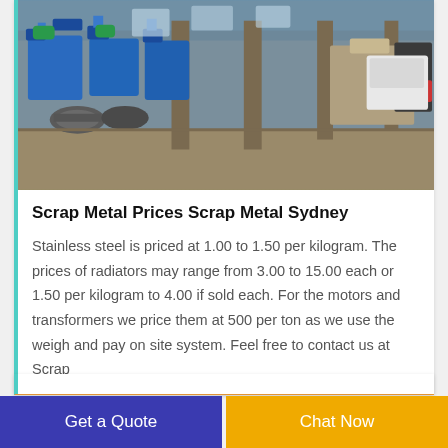[Figure (photo): Industrial factory interior with heavy machinery, blue equipment, metal rollers, and large warehouse space with pillars]
Scrap Metal Prices Scrap Metal Sydney
Stainless steel is priced at 1.00 to 1.50 per kilogram. The prices of radiators may range from 3.00 to 15.00 each or 1.50 per kilogram to 4.00 if sold each. For the motors and transformers we price them at 500 per ton as we use the weigh and pay on site system. Feel free to contact us at Scrap
Get a Quote
Chat Now